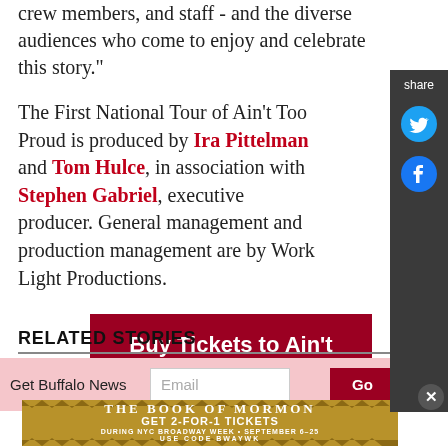crew members, and staff - and the diverse audiences who come to enjoy and celebrate this story."
The First National Tour of Ain't Too Proud is produced by Ira Pittelman and Tom Hulce, in association with Stephen Gabriel, executive producer. General management and production management are by Work Light Productions.
[Figure (other): Red button: Buy Tickets to Ain't Too Proud]
RELATED STORIES
[Figure (other): Email subscription bar with Get Buffalo News label, email input, and Go button]
[Figure (other): Advertisement: The Book of Mormon - Get 2-for-1 tickets during NYC Broadway Week September 6-25, use code BWAYWK - Get Tickets]
[Figure (other): Share sidebar with Twitter and Facebook icons]